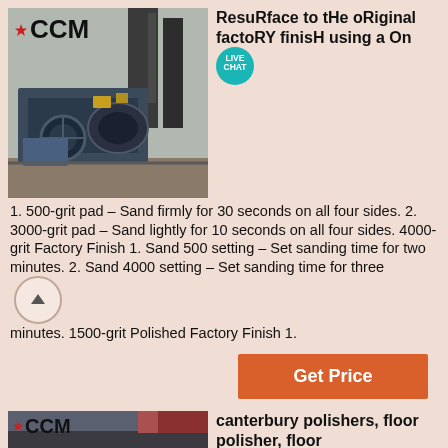[Figure (photo): Industrial heavy machinery (crusher/mill) outdoors with CCM logo overlay]
ResuRface to tHe oRiginal factoRY finisH using a On [LIVE CHAT]
1. 500-grit pad – Sand firmly for 30 seconds on all four sides. 2. 3000-grit pad – Sand lightly for 10 seconds on all four sides. 4000-grit Factory Finish 1. Sand 500 setting – Set sanding time for two minutes. 2. Sand 4000 setting – Set sanding time for three minutes. 1500-grit Polished Factory Finish 1.
Get Price
[Figure (photo): Close-up of heavy industrial machinery panel with CCM logo]
canterbury polishers, floor polisher, floor